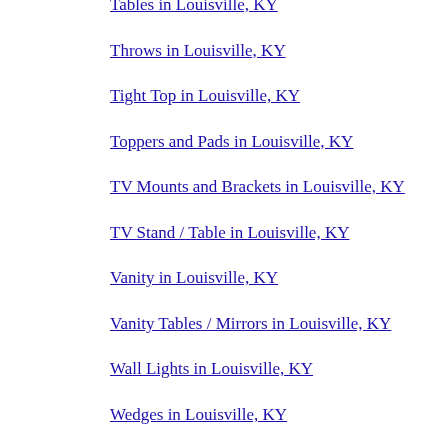Tables in Louisville, KY
Throws in Louisville, KY
Tight Top in Louisville, KY
Toppers and Pads in Louisville, KY
TV Mounts and Brackets in Louisville, KY
TV Stand / Table in Louisville, KY
Vanity in Louisville, KY
Vanity Tables / Mirrors in Louisville, KY
Wall Lights in Louisville, KY
Wedges in Louisville, KY
Ashley Furniture in Lexington, KY
Bernhardt in Lexington, KY
Best Home Furnishings in Lexington, KY